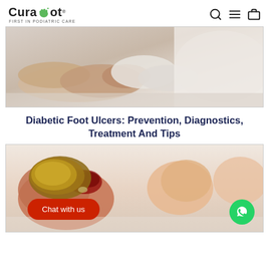Curafoot - First in Podiatric Care
[Figure (photo): Medical professional in white gloves examining a patient's foot, close-up view on a clinical table]
Diabetic Foot Ulcers: Prevention, Diagnostics, Treatment And Tips
[Figure (photo): Close-up of a foot with an infected ingrown toenail showing redness and inflammation, with a 'Chat with us' button overlay and WhatsApp button]